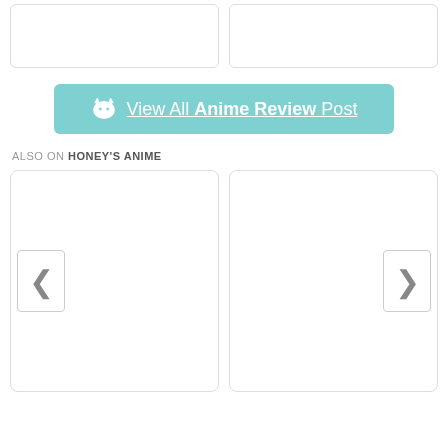[Figure (other): Two card placeholder boxes at the top]
[Figure (other): Teal button with cat icon: View All Anime Review Post]
ALSO ON HONEY'S ANIME
[Figure (other): Two card placeholders with left chevron and right chevron navigation buttons]